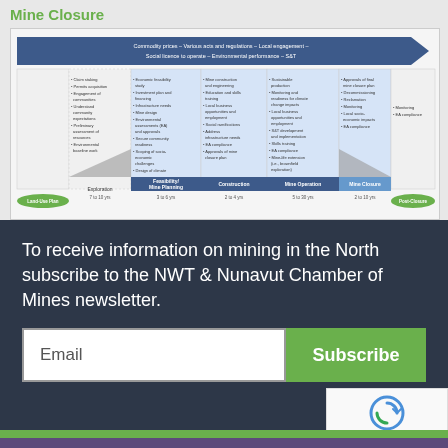Mine Closure
[Figure (flowchart): Mine lifecycle diagram showing stages: Land-Use Plan, Exploration (7-10 yrs), Feasibility/Mine Planning (3-6 yrs), Construction (2-4 yrs), Mine Operation (5-30 yrs), Mine Closure (2-10 yrs), Post-Closure. A blue arrow banner at top reads: Commodity prices – Various acts and regulations – Local engagement – Social licence to operate – Environmental performance – S&T. Each stage has bullet points of activities.]
To receive information on mining in the North subscribe to the NWT & Nunavut Chamber of Mines newsletter.
Email
Subscribe